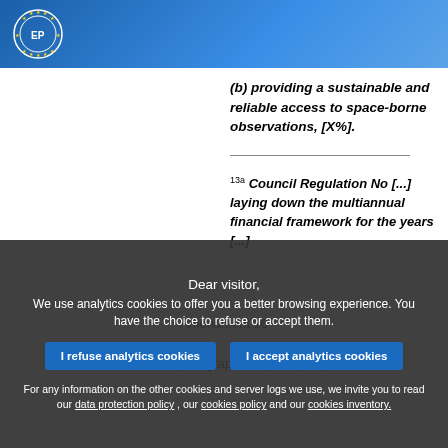European Parliament header with logo
(b) providing a sustainable and reliable access to space-borne observations, [X%].
13a Council Regulation No [...] laying down the multiannual financial framework for the years [...]
Amendment 16
Article 4 – paragraph 1 – point (new)
Dear visitor, We use analytics cookies to offer you a better browsing experience. You have the choice to refuse or accept them.
I refuse analytics cookies
I accept analytics cookies
For any information on the other cookies and server logs we use, we invite you to read our data protection policy , our cookies policy and our cookies inventory.